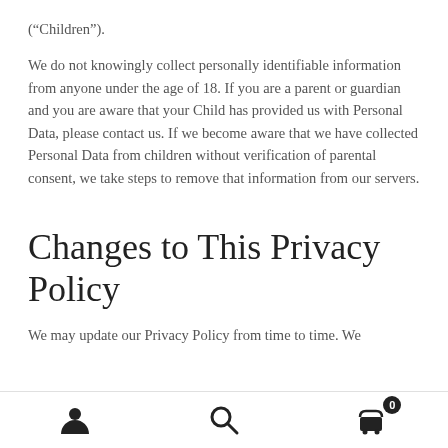("Children").
We do not knowingly collect personally identifiable information from anyone under the age of 18. If you are a parent or guardian and you are aware that your Child has provided us with Personal Data, please contact us. If we become aware that we have collected Personal Data from children without verification of parental consent, we take steps to remove that information from our servers.
Changes to This Privacy Policy
We may update our Privacy Policy from time to time. We